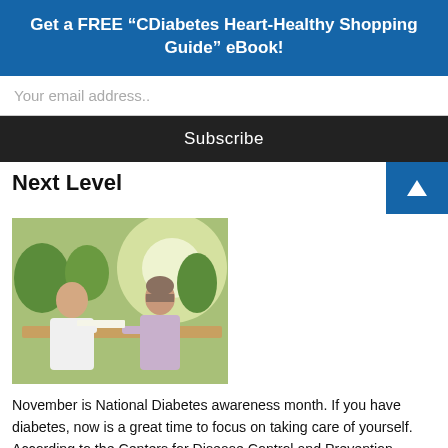Get a FREE “CDiabetes Heart-Healthy Shopping Guide” eBook!
Your email address..
Subscribe
Next Level
[Figure (photo): A doctor in a white coat consulting with a female patient at a table, with green trees visible in the background through a window]
November is National Diabetes awareness month. If you have diabetes, now is a great time to focus on taking care of yourself. According to the Centers for Disease Control and Prevention (CDC), more than 30 million American have diabetes; 1 out of 4 people with diabetes don't even